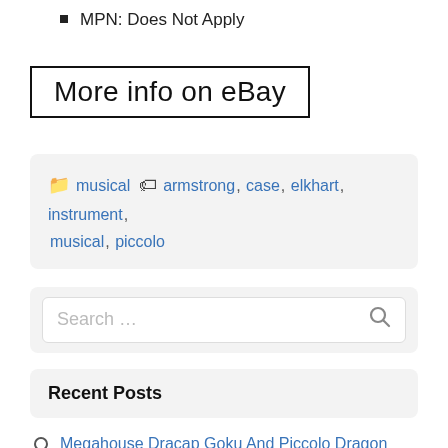MPN: Does Not Apply
[Figure (other): Button/link box with text: More info on eBay]
musical  armstrong, case, elkhart, instrument, musical, piccolo
[Figure (other): Search input box with placeholder text 'Search ...' and a search icon]
Recent Posts
Megahouse Dracap Goku And Piccolo Dragon Ball Capsule Figure JAPAN
Trumpet French Selmer Piccolo Trumpet Vintage Instrument Very Rare From Japan